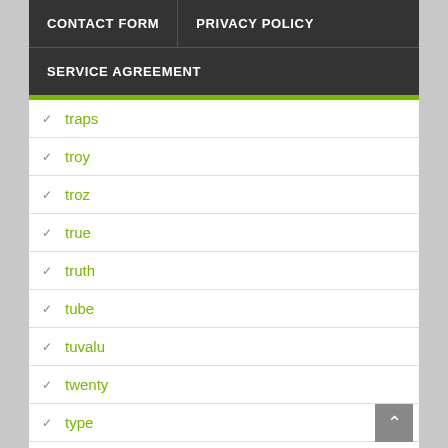CONTACT FORM | PRIVACY POLICY | SERVICE AGREEMENT
traps
troy
troz
true
truth
tube
tuvalu
twenty
type
type1
ultra
unboxing